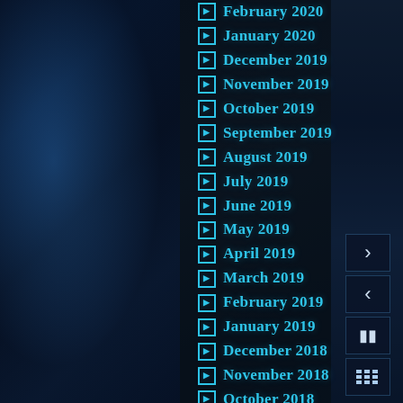[Figure (screenshot): Website navigation page with dark water/liquid background showing a monthly archive list]
February 2020
January 2020
December 2019
November 2019
October 2019
September 2019
August 2019
July 2019
June 2019
May 2019
April 2019
March 2019
February 2019
January 2019
December 2018
November 2018
October 2018
September 2018
August 2018
July 2018